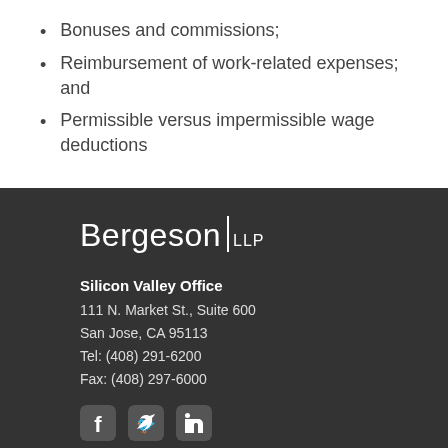Bonuses and commissions;
Reimbursement of work-related expenses; and
Permissible versus impermissible wage deductions
[Figure (logo): Bergeson LLP law firm logo in white text on dark background]
Silicon Valley Office
111 N. Market St., Suite 600
San Jose, CA 95113
Tel: (408) 291-6200
Fax: (408) 297-6000
[Figure (illustration): Social media icons: Facebook, Twitter, LinkedIn]